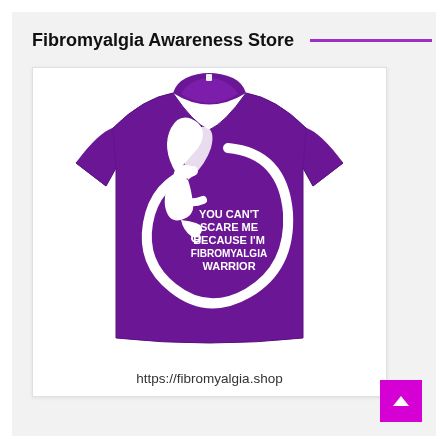Fibromyalgia Awareness Store
[Figure (photo): Purple t-shirt with white awareness ribbon and circular design. Text on shirt reads: YOU CAN'T SCARE ME BECAUSE I'M FIBROMYALGIA WARRIOR]
https://fibromyalgia.shop